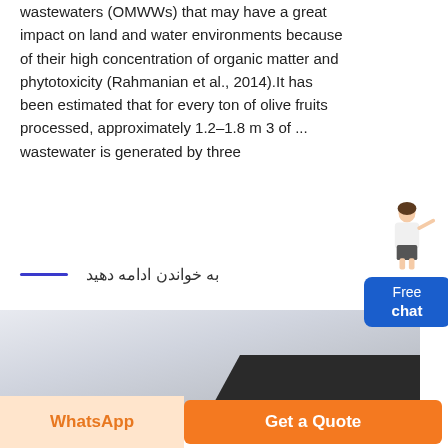wastewaters (OMWWs) that may have a great impact on land and water environments because of their high concentration of organic matter and phytotoxicity (Rahmanian et al., 2014).It has been estimated that for every ton of olive fruits processed, approximately 1.2–1.8 m 3 of ... wastewater is generated by three
[Figure (illustration): Chat widget with a woman figure and a blue Free chat button]
به خواندن ادامه دهید
[Figure (photo): Partial photo showing industrial equipment with dark machinery against a light gray sky background]
WhatsApp
Get a Quote